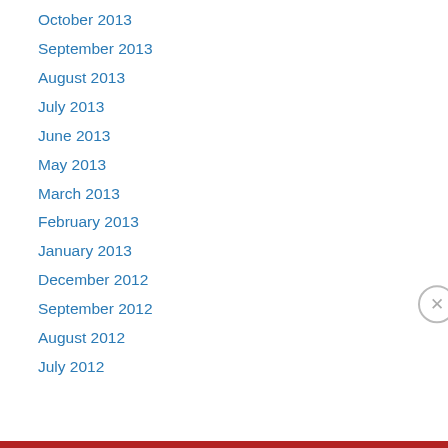October 2013
September 2013
August 2013
July 2013
June 2013
May 2013
March 2013
February 2013
January 2013
December 2012
September 2012
August 2012
July 2012
Privacy & Cookies: This site uses cookies. By continuing to use this website, you agree to their use. To find out more, including how to control cookies, see here: Cookie Policy